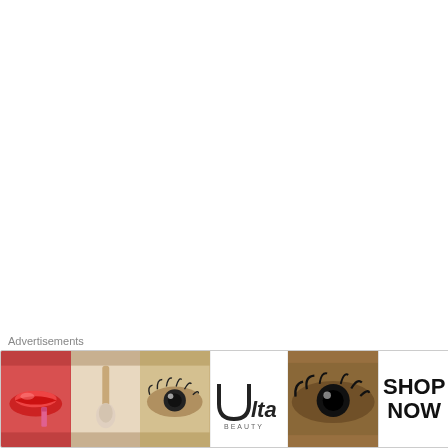it's not a 'year' of change and it's not in having enough intellect to know that a change prudent to achieve an outcome. Progressives' ability to intellectually discern when change is an obsession for Progressives, they MUST change and anyone that disagrees with them is falsely labeled as having an irrational fear of you, are unethical political hacks.
Here's an interesting fact; it's a fact XXXX Histrionic Malevolence Syndrome.
★ Like
David Blaska says: March 30, 2018 at 6:37 am
[Figure (photo): Avatar image of commenter David Blaska - colorful illustrated portrait]
[Figure (photo): Ulta Beauty advertisement strip showing makeup/cosmetics imagery with SHOP NOW call to action]
Advertisements